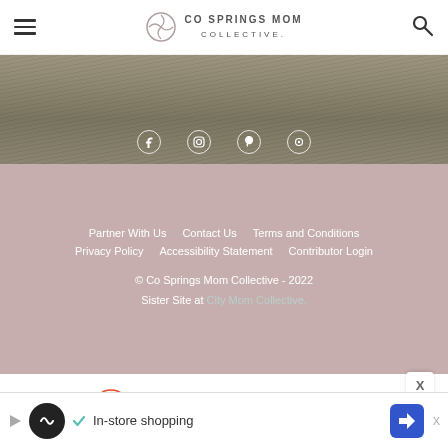CO SPRINGS MOM COLLECTIVE
[Figure (photo): Hero background photo of dry grass/ground with social media icons overlay (Facebook, Instagram, Pinterest, Twitter/other)]
Partner With Us  Contact Us  Terms and Conditions  Privacy Policy  Accessibility Statement  Contributor Login  © Co Springs Mom Collective - 2022  Sister Site at City Mom Collective.
[Figure (logo): SHE Media Collective Family logo with circular orange icon, orange SHE text, COLLECTIVE text, and teal FAMILY pill button, with teal play arrow icon]
Learn More | Privacy
Report ad
[Figure (infographic): Bottom advertisement bar with play icon, dark circular logo with infinity symbol, green checkmark, 'In-store shopping' text, and blue navigation arrow icon. X close button in corner.]